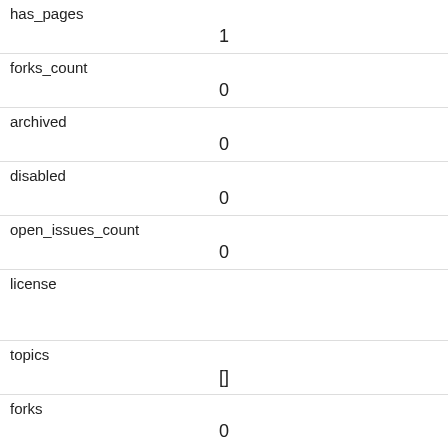| has_pages | 1 |
| forks_count | 0 |
| archived | 0 |
| disabled | 0 |
| open_issues_count | 0 |
| license |  |
| topics | [] |
| forks | 0 |
| open_issues | 0 |
| watchers | 5 |
| default_branch |  |